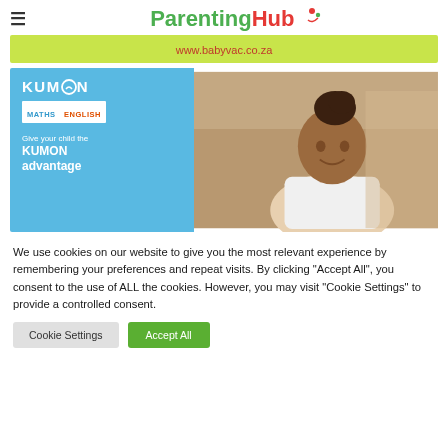≡  ParentingHub
[Figure (screenshot): BabyVac advertisement banner with green background showing www.babyvac.co.za]
[Figure (screenshot): Kumon advertisement showing logo with MATHS ENGLISH text, tagline 'Give your child the KUMON advantage', and photo of a child studying]
We use cookies on our website to give you the most relevant experience by remembering your preferences and repeat visits. By clicking "Accept All", you consent to the use of ALL the cookies. However, you may visit "Cookie Settings" to provide a controlled consent.
Cookie Settings   Accept All